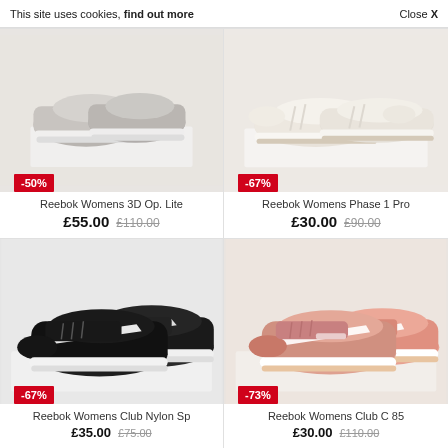This site uses cookies, find out more
Close X
[Figure (photo): Reebok Womens 3D Op. Lite sneakers, gray with peach/orange accent, viewed from back]
-50%
Reebok Womens 3D Op. Lite
£55.00  £110.00
[Figure (photo): Reebok Womens Phase 1 Pro sneakers, white/cream, side view]
-67%
Reebok Womens Phase 1 Pro
£30.00  £90.00
[Figure (photo): Reebok Womens Club Nylon Sp sneakers, black with white sole, three-quarter view]
-67%
Reebok Womens Club Nylon Sp
[Figure (photo): Reebok Womens Club C 85 sneakers, peach/salmon color, side view]
-73%
Reebok Womens Club C 85